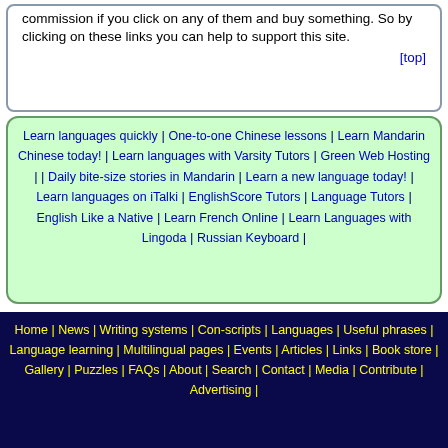commission if you click on any of them and buy something. So by clicking on these links you can help to support this site.
[top]
Learn languages quickly | One-to-one Chinese lessons | Learn Mandarin Chinese today! | Learn languages with Varsity Tutors | Green Web Hosting | Daily bite-size stories in Mandarin | Learn a new language today! | Learn languages on iTalki | EnglishScore Tutors | Language Tutors | English Like a Native | Learn French Online | Learn Languages with Lingoda | Russian Keyboard |
Home | News | Writing systems | Con-scripts | Languages | Useful phrases | Language learning | Multilingual pages | Events | Articles | Links | Book store | Gallery | Puzzles | FAQs | About | Search | Contact | Media | Contribute | Advertising |